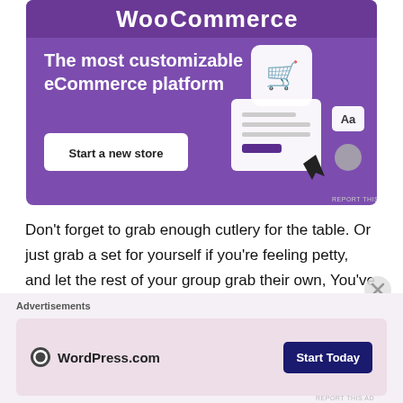[Figure (screenshot): WooCommerce advertisement banner with purple background. Shows 'The most customizable eCommerce platform' tagline, a 'Start a new store' button, and an illustration of a shopping cart and UI elements.]
Don't forget to grab enough cutlery for the table. Or just grab a set for yourself if you're feeling petty, and let the rest of your group grab their own, You've already gotten the sauces from the island, let the others earn the right
[Figure (screenshot): WordPress.com advertisement banner with pink/lavender background. Shows WordPress.com logo and a 'Start Today' dark blue button. Labeled 'Advertisements' above.]